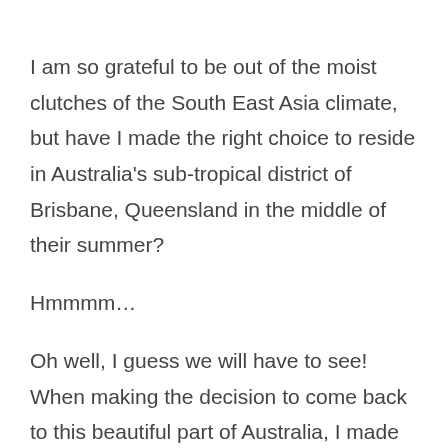I am so grateful to be out of the moist clutches of the South East Asia climate, but have I made the right choice to reside in Australia's sub-tropical district of Brisbane, Queensland in the middle of their summer?
Hmmmm…
Oh well, I guess we will have to see! When making the decision to come back to this beautiful part of Australia, I made the choice based on the gorgeous people and ph360 community that resided here. I